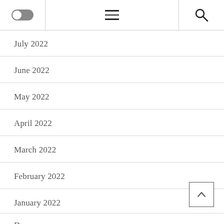[toggle] [menu] [search]
July 2022
June 2022
May 2022
April 2022
March 2022
February 2022
January 2022
December 2021